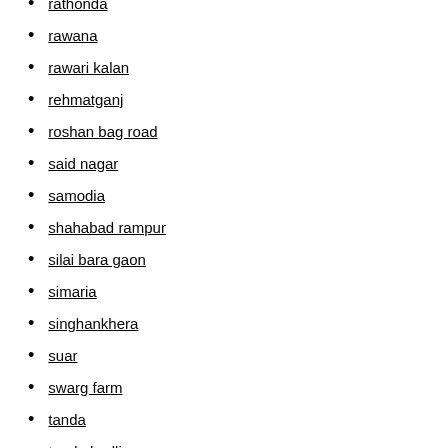rathonda
rawana
rawari kalan
rehmatganj
roshan bag road
said nagar
samodia
shahabad rampur
silai bara gaon
simaria
singhankhera
suar
swarg farm
tanda
tanda badli